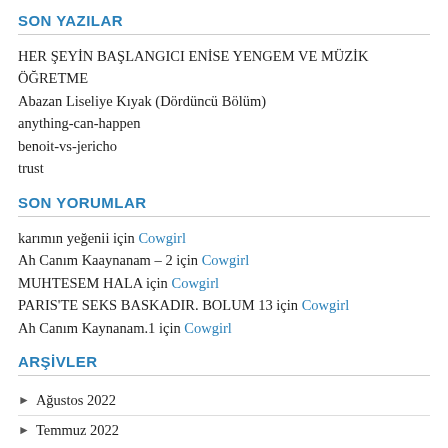SON YAZILAR
HER ŞEYİN BAŞLANGICI ENİSE YENGEM VE MÜZİK ÖĞRETME
Abazan Liseliye Kıyak (Dördüncü Bölüm)
anything-can-happen
benoit-vs-jericho
trust
SON YORUMLAR
karımın yeğenii için Cowgirl
Ah Canım Kaaynanam – 2 için Cowgirl
MUHTESEM HALA için Cowgirl
PARIS'TE SEKS BASKADIR. BOLUM 13 için Cowgirl
Ah Canım Kaynanam.1 için Cowgirl
ARŞİVLER
Ağustos 2022
Temmuz 2022